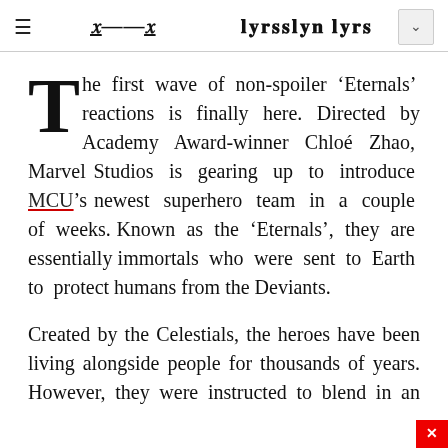≡  [Masthead logo]  ∨
The first wave of non-spoiler ‘Eternals’ reactions is finally here. Directed by Academy Award-winner Chloé Zhao, Marvel Studios is gearing up to introduce MCU’s newest superhero team in a couple of weeks. Known as the ‘Eternals’, they are essentially immortals who were sent to Earth to protect humans from the Deviants.
Created by the Celestials, the heroes have been living alongside people for thousands of years. However, they were instructed to blend in an